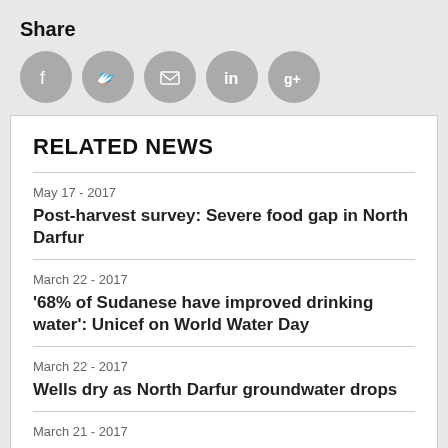Share
[Figure (infographic): Social media share icons: Facebook, Twitter, Email, LinkedIn, Google+]
RELATED NEWS
May 17 - 2017
Post-harvest survey: Severe food gap in North Darfur
March 22 - 2017
'68% of Sudanese have improved drinking water': Unicef on World Water Day
March 22 - 2017
Wells dry as North Darfur groundwater drops
March 21 - 2017
25,000 need aid in East Jebel Marra: OCHA Sudan